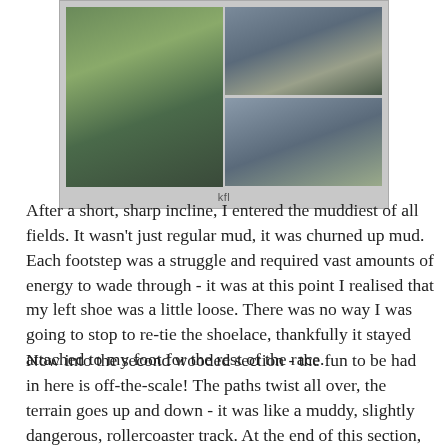[Figure (photo): Composite of three cross-country running photos showing runners in striped vests competing in muddy, wet conditions. Caption reads 'kfl'.]
kfl
After a short, sharp incline, I entered the muddiest of all fields. It wasn't just regular mud, it was churned up mud. Each footstep was a struggle and required vast amounts of energy to wade through - it was at this point I realised that my left shoe was a little loose. There was no way I was going to stop to re-tie the shoelace, thankfully it stayed attached to my foot for the rest of the race.
Now into the second wooded section - the fun to be had in here is off-the-scale! The paths twist all over, the terrain goes up and down - it was like a muddy, slightly dangerous, rollercoaster track. At the end of this section, the bomb craters are found - three of them. I was totally knackered